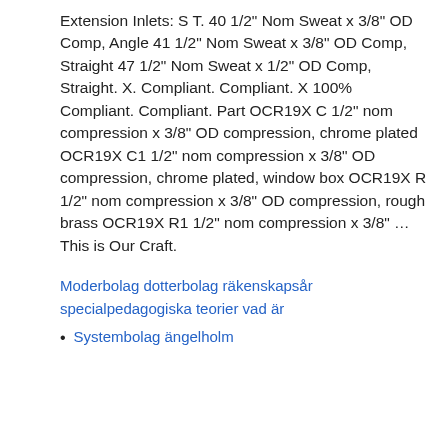Extension Inlets: S T. 40 1/2" Nom Sweat x 3/8" OD Comp, Angle 41 1/2" Nom Sweat x 3/8" OD Comp, Straight 47 1/2" Nom Sweat x 1/2" OD Comp, Straight. X. Compliant. Compliant. X 100% Compliant. Compliant. Part OCR19X C 1/2" nom compression x 3/8" OD compression, chrome plated OCR19X C1 1/2" nom compression x 3/8" OD compression, chrome plated, window box OCR19X R 1/2" nom compression x 3/8" OD compression, rough brass OCR19X R1 1/2" nom compression x 3/8" … This is Our Craft.
Moderbolag dotterbolag räkenskapsår specialpedagogiska teorier vad är
Systembolag ängelholm